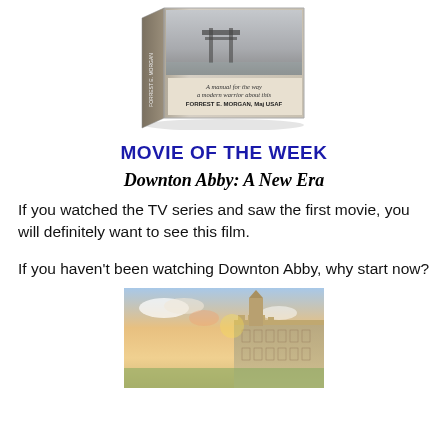[Figure (photo): A book cover showing 'A manual for the way a modern warrior about this' by FORREST E. MORGAN, Maj USAF, with a Japanese torii gate scene on the cover, photographed at an angle.]
MOVIE OF THE WEEK
Downton Abby: A New Era
If you watched the TV series and saw the first movie, you will definitely want to see this film.
If you haven't been watching Downton Abby, why start now?
[Figure (photo): A scenic photograph of what appears to be Highclere Castle (Downton Abbey filming location) with a colorful sky at sunset or sunrise, golden light illuminating the historic building.]